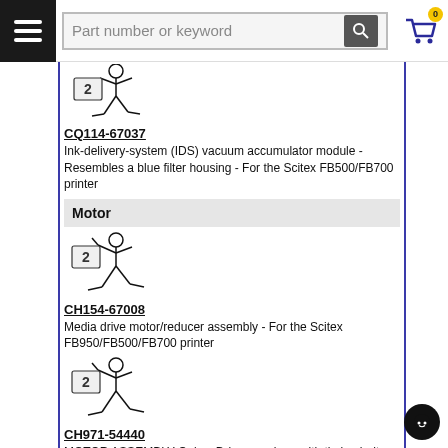Part number or keyword [search]
[Figure (illustration): Stick figure character holding part number sign - product image placeholder for CQ114-67037]
CQ114-67037
Ink-delivery-system (IDS) vacuum accumulator module - Resembles a blue filter housing - For the Scitex FB500/FB700 printer
Motor
[Figure (illustration): Stick figure character holding part number sign - product image placeholder for CH154-67008]
CH154-67008
Media drive motor/reducer assembly - For the Scitex FB950/FB500/FB700 printer
[Figure (illustration): Stick figure character holding part number sign - product image placeholder for CH971-54440]
CH971-54440
MOTOR ASSEMBLY Only. - Drives carriage with timing belt ASSY MTR XENA/ATHENA CARRIAGE  DRVLF.